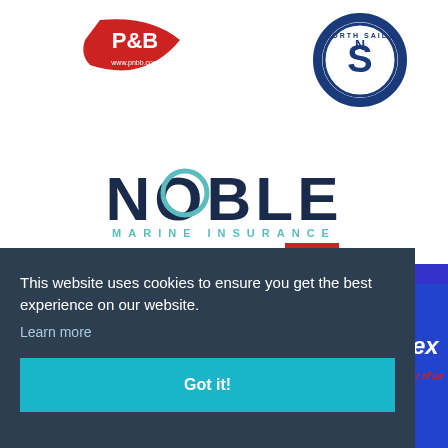[Figure (logo): P&B logo - red swoosh shape with text www.pnbb.com]
[Figure (logo): North Sails circular logo - blue circle with N and S letters]
[Figure (logo): Noble Marine Insurance logo - dark navy NOBLE text with teal MARINE INSURANCE subtitle]
[Figure (logo): Rooster logo - black bold ROOSTER text with registered trademark and red square with white bird]
This website uses cookies to ensure you get the best experience on our website.
Learn more
Got it!